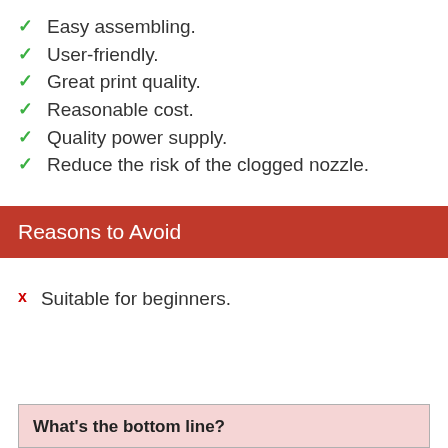Easy assembling.
User-friendly.
Great print quality.
Reasonable cost.
Quality power supply.
Reduce the risk of the clogged nozzle.
Reasons to Avoid
Suitable for beginners.
What’s the bottom line?